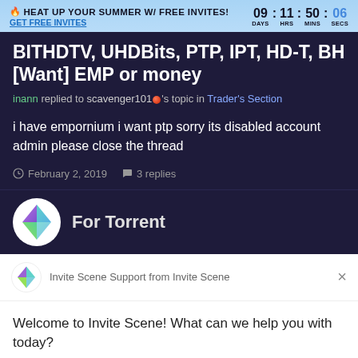🔥 HEAT UP YOUR SUMMER W/ FREE INVITES! 09 : 11 : 50 : 06 DAYS HRS MINS SECS GET FREE INVITES
BITHDTV, UHDBits, PTP, IPT, HD-T, BH [Want] EMP or money
inann replied to scavenger101 's topic in Trader's Section
i have empornium i want ptp sorry its disabled account admin please close the thread
February 2, 2019   3 replies
For Torrent
Invite Scene Support from Invite Scene
Welcome to Invite Scene! What can we help you with today?
Reply to Invite Scene Support
Chat ⚡ by Drift